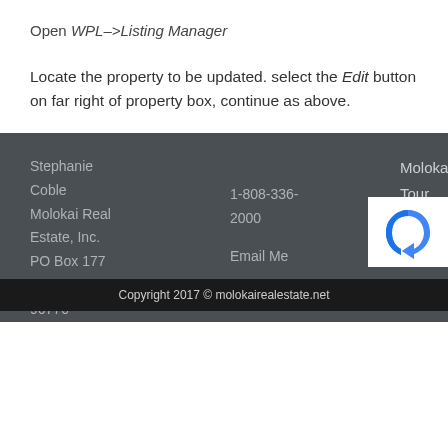Open WPL–>Listing Manager
Locate the property to be updated. select the Edit button on far right of property box, continue as above.
Stephanie Coble
Molokai Real Estate, Inc.
PO Box 177
Maunaloa, HI 96770
1-808-336-2000

Email Me
Molokai Tour
Copyright 2017 © molokairealestate.net